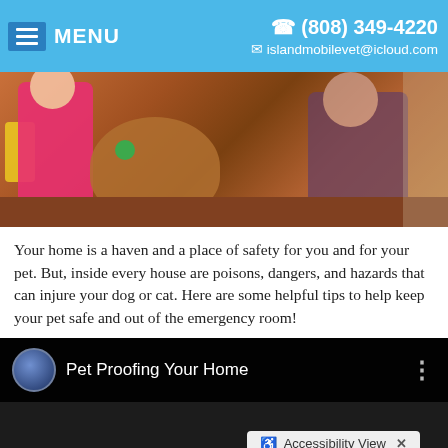MENU | ☎ (808) 349-4220 | ✉ islandmobilevet@icloud.com
[Figure (photo): A young child in a pink outfit petting or playing with a brown dog, while a woman in a floral/dark top sits nearby on the floor.]
Your home is a haven and a place of safety for you and for your pet. But, inside every house are poisons, dangers, and hazards that can injure your dog or cat. Here are some helpful tips to help keep your pet safe and out of the emergency room!
[Figure (screenshot): Embedded video player showing 'Pet Proofing Your Home' with a circular logo, three-dot menu icon, and an Accessibility View overlay button with an X close button.]